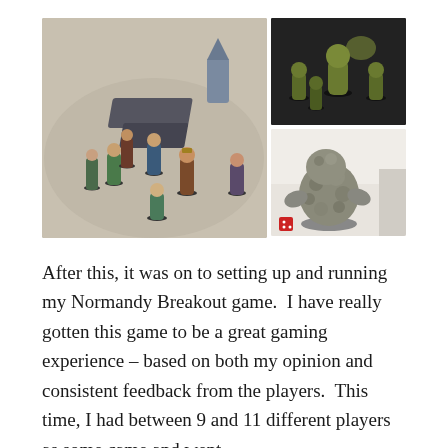[Figure (photo): Collage of three photos showing painted tabletop miniature figurines. Left: large photo of multiple fantasy adventurer miniatures arranged on a grey surface with terrain pieces. Top right: smaller photo of monster miniatures on a dark surface. Bottom right: photo of a large grey rock/stone creature miniature on a white surface with a red dice.]
After this, it was on to setting up and running my Normandy Breakout game.  I have really gotten this game to be a great gaming experience – based on both my opinion and consistent feedback from the players.  This time, I had between 9 and 11 different players as some came and went.